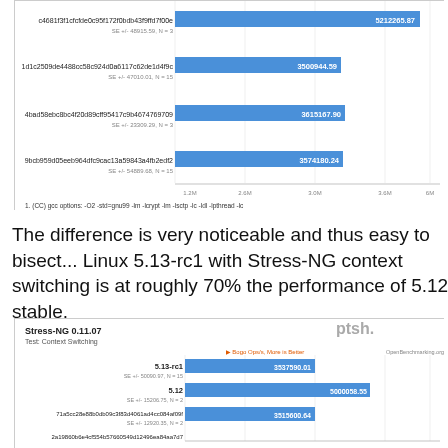[Figure (bar-chart): Stress-NG 0.11.07 (top portion)]
1. (CC) gcc options: -O2 -std=gnu99 -lm -lcrypt -lm -lsctp -lc -ldl -lpthread -lc
The difference is very noticeable and thus easy to bisect... Linux 5.13-rc1 with Stress-NG context switching is at roughly 70% the performance of 5.12 stable.
[Figure (bar-chart): Stress-NG 0.11.07 / Test: Context Switching]